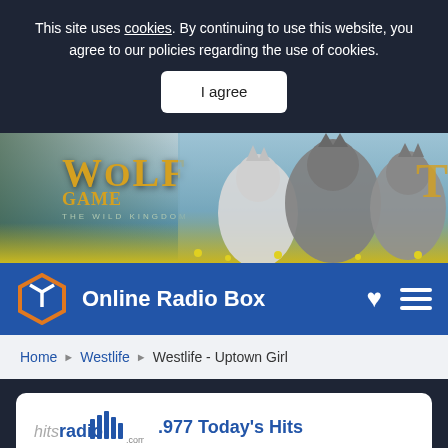This site uses cookies. By continuing to use this website, you agree to our policies regarding the use of cookies.
I agree
[Figure (photo): Wolf Game: The Wild Kingdom advertisement banner showing wolves in a meadow with yellow flowers]
Online Radio Box
Home ▶ Westlife ▶ Westlife - Uptown Girl
.977 Today's Hits
[Figure (logo): hitsradio.com logo with bar chart icon]